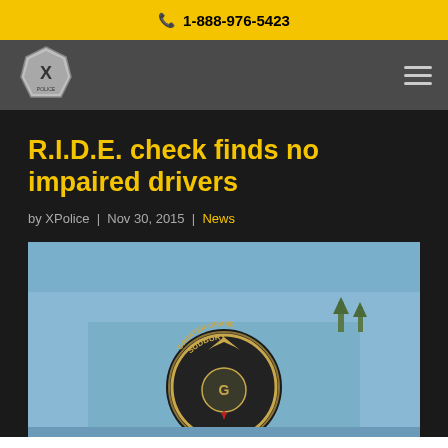📞 1-888-976-5423
[Figure (logo): XPolice badge logo — silver shield with X emblem]
R.I.D.E. check finds no impaired drivers
by XPolice | Nov 30, 2015 | News
[Figure (photo): Close-up of a police officer's uniform sleeve showing the Greater-Grand Sudbury Police badge/patch on a light blue shirt]